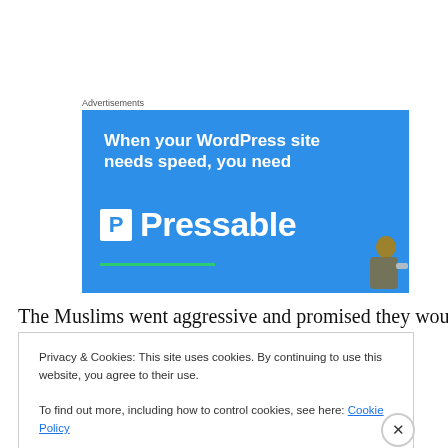Advertisements
[Figure (illustration): Blue advertisement banner for Pressable WordPress hosting service. Text reads: 'When your WordPress site needs speed, you need' followed by the Pressable logo (P icon and brand name in white). A green underline decoration and partial image of a person at the bottom right.]
The Muslims went aggressive and promised they wouldn't
Privacy & Cookies: This site uses cookies. By continuing to use this website, you agree to their use.
To find out more, including how to control cookies, see here: Cookie Policy